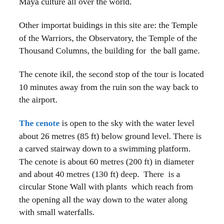building of the metropolis, Kukulcan Pyramid, known as El Castillo, has become an emblem of the Maya culture all over the world.
Other importat buidings in this site are: the Temple of the Warriors, the Observatory, the Temple of the Thousand Columns, the building for the ball game.
The cenote ikil, the second stop of the tour is located 10 minutes away from the ruin son the way back to the airport.
The cenote is open to the sky with the water level about 26 metres (85 ft) below ground level. There is a carved stairway down to a swimming platform. The cenote is about 60 metres (200 ft) in diameter and about 40 metres (130 ft) deep. There is a circular Stone Wall with plants which reach from the opening all the way down to the water along with small waterfalls.
The cenote is part of a larger complex of a restaurant, store, changing rooms, and cottages for rent. There is also a Mayan ruin